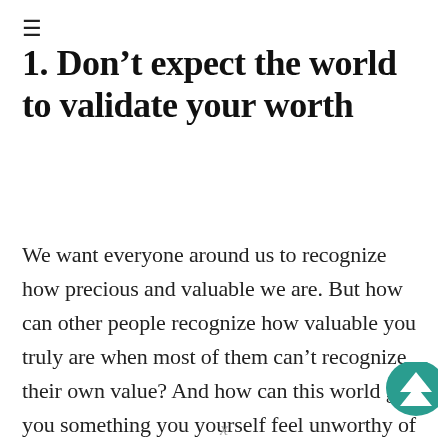≡
1. Don't expect the world to validate your worth
We want everyone around us to recognize how precious and valuable we are. But how can other people recognize how valuable you truly are when most of them can't recognize their own value? And how can this world give you something you yourself feel unworthy of receiving? If you want to go from feeling worthless to feeling worthy, you need to
[Figure (illustration): Teal/green scroll-to-top button icon with a house/chevron symbol, partially visible at bottom right corner]